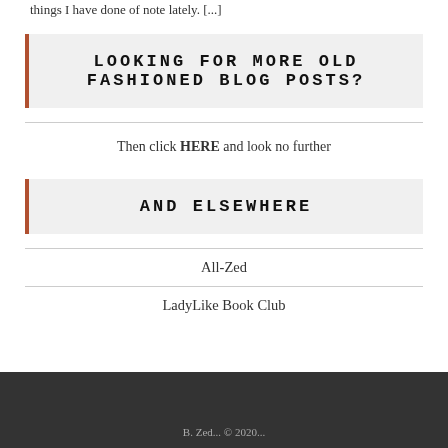things I have done of note lately. [...]
LOOKING FOR MORE OLD FASHIONED BLOG POSTS?
Then click HERE and look no further
AND ELSEWHERE
All-Zed
LadyLike Book Club
B. Zed... © 2020...